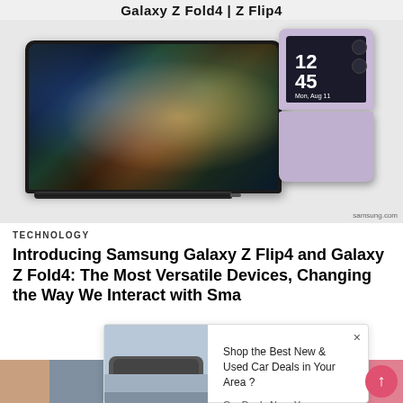[Figure (photo): Samsung Galaxy Z Fold4 and Galaxy Z Flip4 product photo with stylus pen, showing both phones on a light grey background. Text 'Galaxy Z Fold4 | Z Flip4' appears at top. Samsung.com watermark at bottom right.]
TECHNOLOGY
Introducing Samsung Galaxy Z Flip4 and Galaxy Z Fold4: The Most Versatile Devices, Changing the Way We Interact with Sma…
[Figure (photo): Advertisement overlay showing a car image on left with text: 'Shop the Best New & Used Car Deals in Your Area?' and source 'Car Deals Near You', branded by PurpleAds. Close (×) button at top right.]
[Figure (photo): Bottom strip showing partial images below the main article.]
[Figure (other): Pink circular scroll-to-top button with upward arrow at bottom right.]